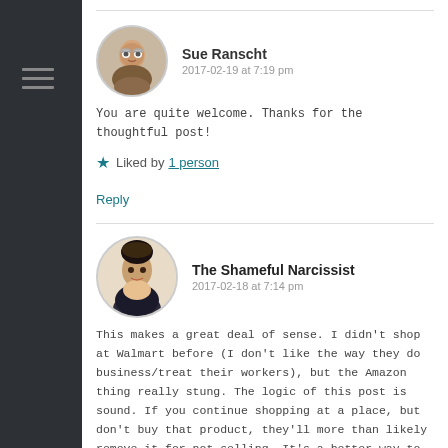[Figure (illustration): Dark sidebar with hamburger menu icon]
Sue Ranscht
2017-02-19 at 7:19 pm
You are quite welcome. Thanks for the thoughtful post!
Liked by 1 person
Reply
The Shameful Narcissist
2017-02-18 at 7:14 pm
This makes a great deal of sense. I didn't shop at Walmart before (I don't like the way they do business/treat their workers), but the Amazon thing really stung. The logic of this post is sound. If you continue shopping at a place, but don't buy that product, they'll more than likely remove it for not selling. It's a better way to vote with your dollars. What a great breakdown!
Liked by 2 people
Reply